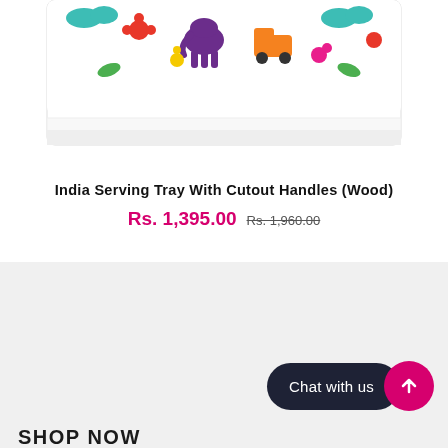[Figure (photo): Top portion of a decorative wooden serving tray with colorful Indian folk art pattern showing animals, flowers, and vehicles on a white background with a white border/frame.]
India Serving Tray With Cutout Handles (Wood)
Rs. 1,395.00  Rs. 1,960.00
Chat with us
SHOP NOW